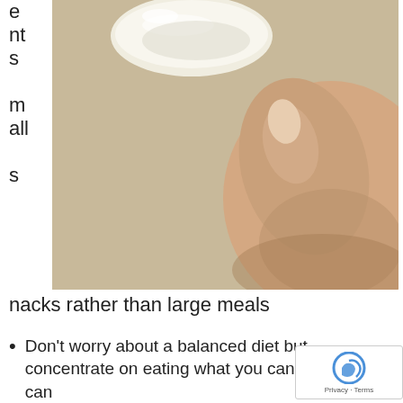e
nt
s

m
all

s
[Figure (photo): A hand holding or touching a small round white bowl or plate against a beige/tan background, viewed from above.]
nacks rather than large meals
Don't worry about a balanced diet but concentrate on eating what you can, when you can
Eat dry, bland foods like bread and crackers, and fresh fruit and vegetables. Avoid foods that are rich or fatty or spicy
Drink plenty of water or herb tea or fruit juice. Some women find that fizzy drinks help most. Don't drink alcohol (you